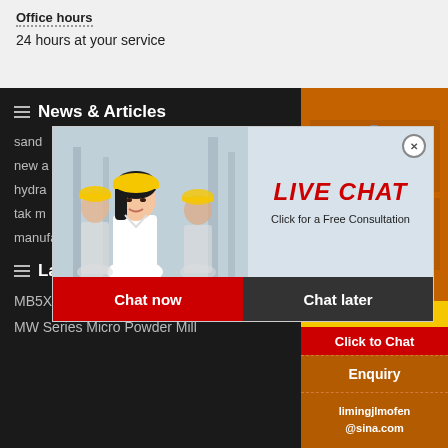Office hours
24 hours at your service
News & Articles
sand
new a
hydra
tak m
manufacturer of ball millfactory of limstone cru
[Figure (screenshot): Live Chat popup with woman in hard hat, red LIVE CHAT text, 'Click for a Free Consultation', Chat now and Chat later buttons]
[Figure (infographic): Orange sidebar with industrial machinery photos, 'Enjoy 3% discount', 'Click to Chat', Enquiry button, and limingjlmofen@sina.com email]
Latest Product
MB5X158 Pendulous Suspension
MW Series Micro Powder Mill